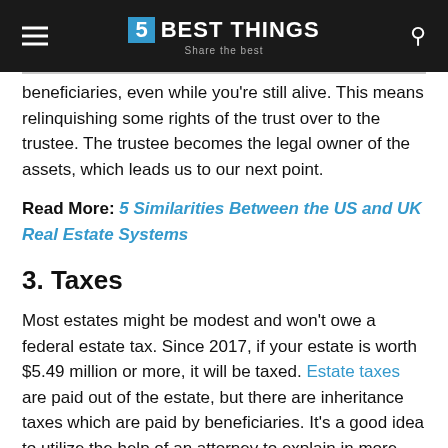5 BEST THINGS — Share the best
beneficiaries, even while you're still alive. This means relinquishing some rights of the trust over to the trustee. The trustee becomes the legal owner of the assets, which leads us to our next point.
Read More: 5 Similarities Between the US and UK Real Estate Systems
3. Taxes
Most estates might be modest and won't owe a federal estate tax. Since 2017, if your estate is worth $5.49 million or more, it will be taxed. Estate taxes are paid out of the estate, but there are inheritance taxes which are paid by beneficiaries. It's a good idea to utilize the help of an attorney to explain in more detail